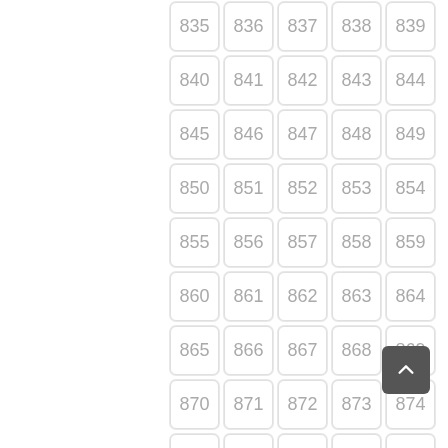| 835 | 836 | 837 | 838 | 839 |
| 840 | 841 | 842 | 843 | 844 |
| 845 | 846 | 847 | 848 | 849 |
| 850 | 851 | 852 | 853 | 854 |
| 855 | 856 | 857 | 858 | 859 |
| 860 | 861 | 862 | 863 | 864 |
| 865 | 866 | 867 | 868 | 869 |
| 870 | 871 | 872 | 873 | 874 |
| 875 | 876 | 877 | 878 | 879 |